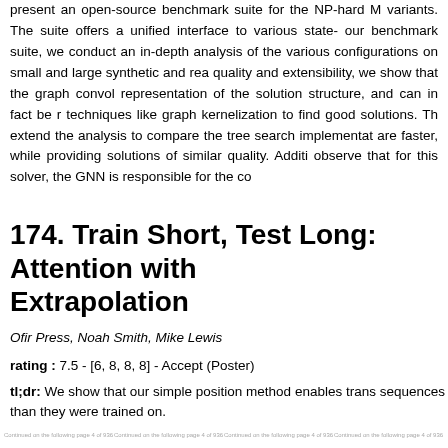present an open-source benchmark suite for the NP-hard M variants. The suite offers a unified interface to various state- our benchmark suite, we conduct an in-depth analysis of the various configurations on small and large synthetic and rea quality and extensibility, we show that the graph convol representation of the solution structure, and can in fact be r techniques like graph kernelization to find good solutions. Th extend the analysis to compare the tree search implementat are faster, while providing solutions of similar quality. Additi observe that for this solver, the GNN is responsible for the co
174. Train Short, Test Long: Attention with Extrapolation
Ofir Press, Noah Smith, Mike Lewis
rating : 7.5 - [6, 8, 8, 8] - Accept (Poster)
tl;dr: We show that our simple position method enables trans sequences than they were trained on.
footer links